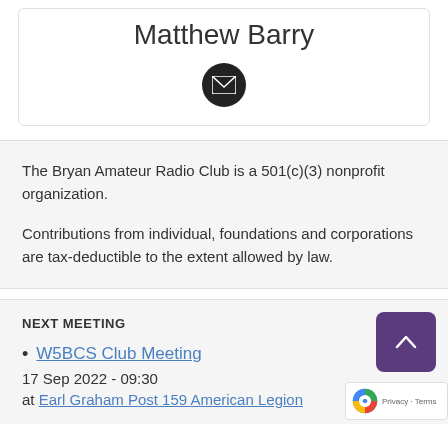Matthew Barry
[Figure (illustration): Black circular email icon with white envelope symbol]
The Bryan Amateur Radio Club is a 501(c)(3) nonprofit organization.
Contributions from individual, foundations and corporations are tax-deductible to the extent allowed by law.
NEXT MEETING
W5BCS Club Meeting
17 Sep 2022 - 09:30
at Earl Graham Post 159 American Legion